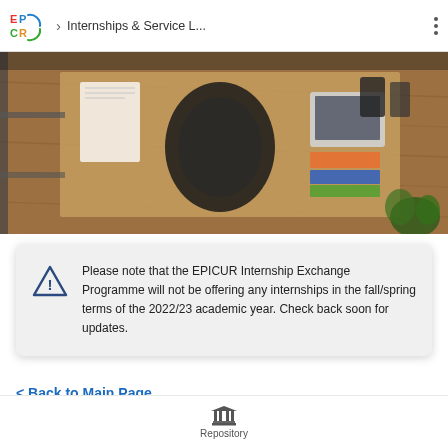Internships & Service L...
[Figure (photo): Aerial view of a wooden desk with scattered papers, notebooks, a laptop, and a plant in the corner]
Please note that the EPICUR Internship Exchange Programme will not be offering any internships in the fall/spring terms of the 2022/23 academic year. Check back soon for updates.
< Back to Main Page
Repository